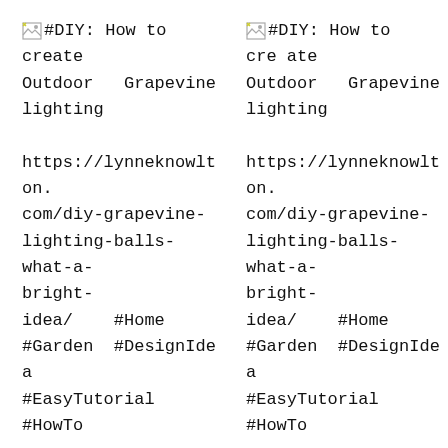#DIY: How to create Outdoor Grapevine lighting https://lynneknowlton.com/diy-grapevine-lighting-balls-what-a-bright-idea/ #Home #Garden #DesignIdea #EasyTutorial #HowTo
#DIY: How to create Outdoor Grapevine lighting https://lynneknowlton.com/diy-grapevine-lighting-balls-what-a-bright-idea/ #Home #Garden #DesignIdea #EasyTutorial #HowTo